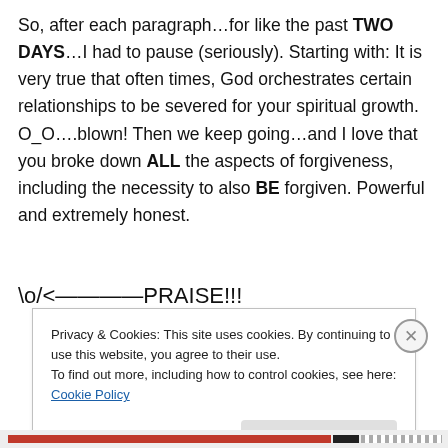So, after each paragraph…for like the past TWO DAYS…I had to pause (seriously). Starting with: It is very true that often times, God orchestrates certain relationships to be severed for your spiritual growth. O_O….blown! Then we keep going…and I love that you broke down ALL the aspects of forgiveness, including the necessity to also BE forgiven. Powerful and extremely honest.
\o/<————PRAISE!!!
Privacy & Cookies: This site uses cookies. By continuing to use this website, you agree to their use.
To find out more, including how to control cookies, see here: Cookie Policy
Close and accept